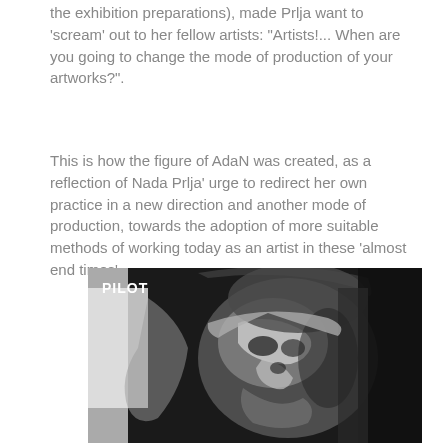the exhibition preparations), made Prlja want to 'scream' out to her fellow artists: "Artists!... When are you going to change the mode of production of your artworks?".
This is how the figure of AdaN was created, as a reflection of Nada Prlja' urge to redirect her own practice in a new direction and another mode of production, towards the adoption of more suitable methods of working today as an artist in these 'almost end times'.
[Figure (photo): Black and white photograph of a person's face (appearing to wear face paint or a mask), with the word PILOT overlaid in white text in the upper left corner.]